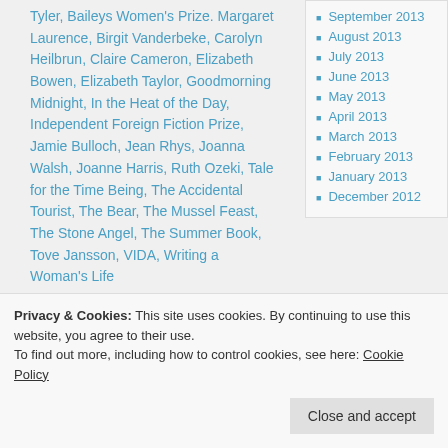Tyler, Baileys Women's Prize. Margaret Laurence, Birgit Vanderbeke, Carolyn Heilbrun, Claire Cameron, Elizabeth Bowen, Elizabeth Taylor, Goodmorning Midnight, In the Heat of the Day, Independent Foreign Fiction Prize, Jamie Bulloch, Jean Rhys, Joanna Walsh, Joanne Harris, Ruth Ozeki, Tale for the Time Being, The Accidental Tourist, The Bear, The Mussel Feast, The Stone Angel, The Summer Book, Tove Jansson, VIDA, Writing a Woman's Life
September 2013
August 2013
July 2013
June 2013
May 2013
April 2013
March 2013
February 2013
January 2013
December 2012
Privacy & Cookies: This site uses cookies. By continuing to use this website, you agree to their use. To find out more, including how to control cookies, see here: Cookie Policy